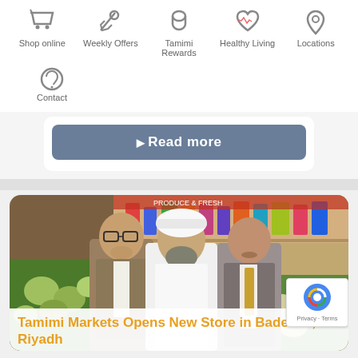Shop online | Weekly Offers | Tamimi Rewards | Healthy Living | Locations | Contact
Read more
[Figure (photo): Three men standing together in a supermarket produce section. Left man wears a suit and glasses, center man wears traditional white Saudi thobe and headdress, right man wears a suit with a tie.]
Tamimi Markets Opens New Store in Badeaah, Riyadh